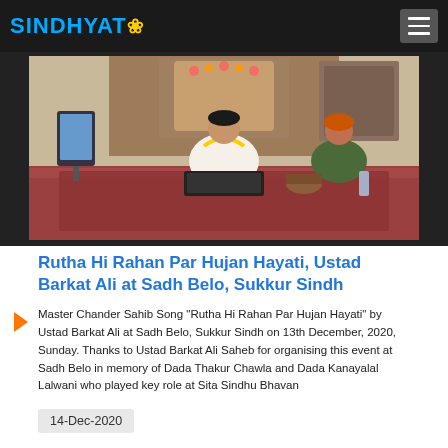SINDHYAT
[Figure (photo): Two men sitting cross-legged on the floor in a decorated room; the man in the center wears a yellow garland and white clothes, playing a harmonium; the man on the right wears an orange turban; a tablet on a stand is visible on the left. Setting appears to be a religious hall (Sadh Belo).]
Rutha Hi Rahan Par Hujan Hayati, Ustad Barkat Ali at Sadh Belo, Sukkur Sindh
Master Chander Sahib Song "Rutha Hi Rahan Par Hujan Hayati" by Ustad Barkat Ali at Sadh Belo, Sukkur Sindh on 13th December, 2020, Sunday. Thanks to Ustad Barkat Ali Saheb for organising this event at Sadh Belo in memory of Dada Thakur Chawla and Dada Kanayalal Lalwani who played key role at Sita Sindhu Bhavan
14-Dec-2020